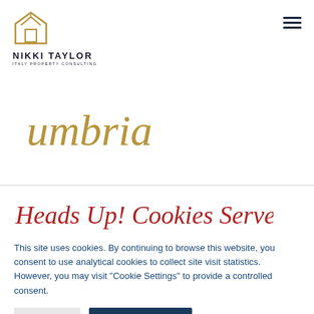[Figure (logo): Nikki Taylor Italy Property Consulting logo with house/diamond icon in gold, company name in dark navy]
[Figure (illustration): Umbria written in gold cursive/script handwriting style]
Heads Up! Cookies Served On This Site
This site uses cookies. By continuing to browse this website, you consent to use analytical cookies to collect site visit statistics. However, you may visit "Cookie Settings" to provide a controlled consent.
Settings | Accept Cookies